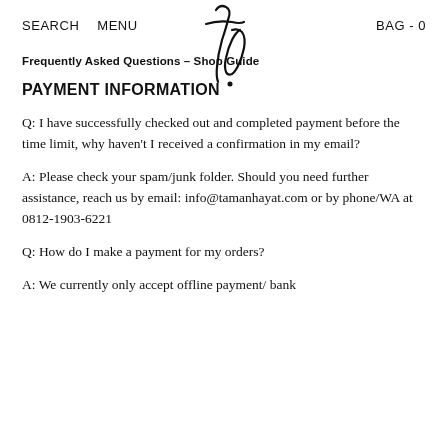SEARCH   MENU   [logo]   BAG - 0
Frequently Asked Questions – Shop Guide
PAYMENT INFORMATION
Q: I have successfully checked out and completed payment before the time limit, why haven't I received a confirmation in my email?
A: Please check your spam/junk folder. Should you need further assistance, reach us by email: info@tamanhayat.com or by phone/WA at 0812-1903-6221
Q: How do I make a payment for my orders?
A: We currently only accept offline payment/ bank